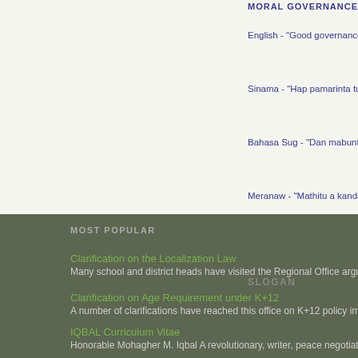MORAL GOVERNANCE
English - "Good governance
Sinama - "Hap pamarinta tud
Bahasa Sug - "Dan mabuntu
Meranaw - "Mathitu a kandat
SLOGAN
MOST POPULAR
Clarification on the Localization Law
Many school and district heads have visited the Regional Office argu
Clarification on Age Requirement under K+12
A number of clarifications have reached this office on K+12 policy imp
IQBAL Curriculum Vitae
Honorable Mohagher M. Iqbal A revolutionary, writer, peace negotiato